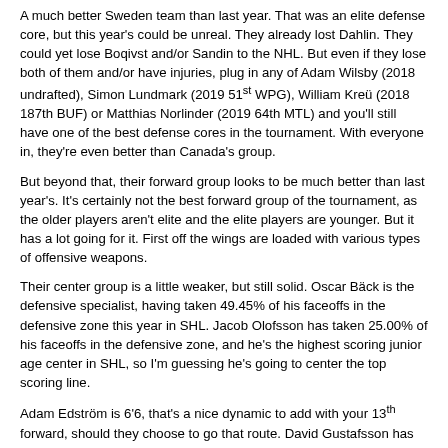A much better Sweden team than last year. That was an elite defense core, but this year's could be unreal. They already lost Dahlin. They could yet lose Boqivst and/or Sandin to the NHL. But even if they lose both of them and/or have injuries, plug in any of Adam Wilsby (2018 undrafted), Simon Lundmark (2019 51st WPG), William Kreü (2018 187th BUF) or Matthias Norlinder (2019 64th MTL) and you'll still have one of the best defense cores in the tournament. With everyone in, they're even better than Canada's group.
But beyond that, their forward group looks to be much better than last year's. It's certainly not the best forward group of the tournament, as the older players aren't elite and the elite players are younger. But it has a lot going for it. First off the wings are loaded with various types of offensive weapons.
Their center group is a little weaker, but still solid. Oscar Bäck is the defensive specialist, having taken 49.45% of his faceoffs in the defensive zone this year in SHL. Jacob Olofsson has taken 25.00% of his faceoffs in the defensive zone, and he's the highest scoring junior age center in SHL, so I'm guessing he's going to center the top scoring line.
Adam Edström is 6'6, that's a nice dynamic to add with your 13th forward, should they choose to go that route. David Gustafsson has been playing five minutes per game with Winnipeg, so I would imagine they'll let him go. Would be a huge blow to lose both Gustafsson and Hallander, as Karl Henriksson (2019 58th NYR), Albin Sundsvik (2019 undrafted) and Linus Öberg (2018 undrafted) would be the next best center options.